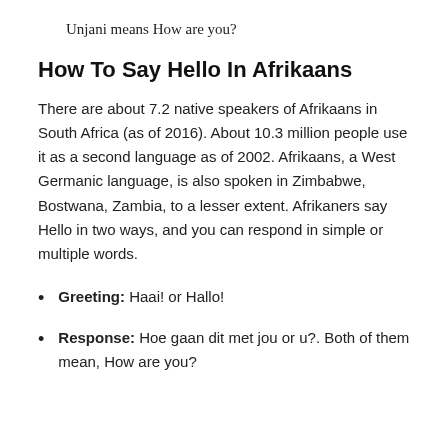Unjani means How are you?
How To Say Hello In Afrikaans
There are about 7.2 native speakers of Afrikaans in South Africa (as of 2016). About 10.3 million people use it as a second language as of 2002. Afrikaans, a West Germanic language, is also spoken in Zimbabwe, Bostwana, Zambia, to a lesser extent. Afrikaners say Hello in two ways, and you can respond in simple or multiple words.
Greeting: Haai! or Hallo!
Response: Hoe gaan dit met jou or u?. Both of them mean, How are you?